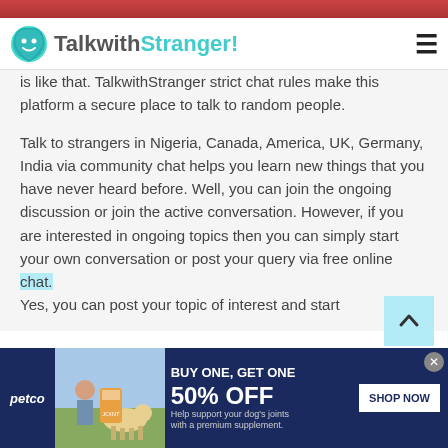TalkwithStranger!
is like that. TalkwithStranger strict chat rules make this platform a secure place to talk to random people.
Talk to strangers in Nigeria, Canada, America, UK, Germany, India via community chat helps you learn new things that you have never heard before. Well, you can join the ongoing discussion or join the active conversation. However, if you are interested in ongoing topics then you can simply start your own conversation or post your query via free online chat. Yes, you can post your topic of interest and start
[Figure (photo): Petco advertisement banner: BUY ONE, GET ONE 50% OFF - Help support your dog's joints with a premium supplement. Shop Now button. Shows woman with a golden retriever dog and supplement product.]